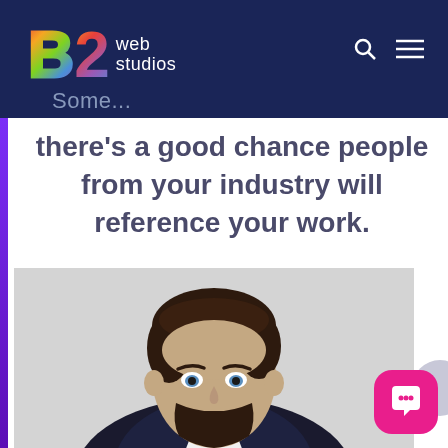B2 web studios
Some
there’s a good chance people from your industry will reference your work.
[Figure (photo): Professional headshot of a young man with dark hair and beard wearing a dark suit jacket, looking at the camera against a light grey background.]